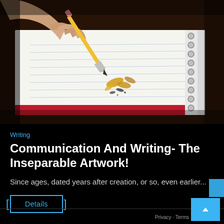[Figure (photo): Close-up photo of a hand holding a yellow pencil writing on a spiral-bound lined notebook, with pencil shavings scattered on the page. Dark brown wooden desk background.]
Writing
Communication And Writing- The Inseparable Artwork!
Since ages, dated years after creation, or so, even earlier...
Details
Privacy · Terms